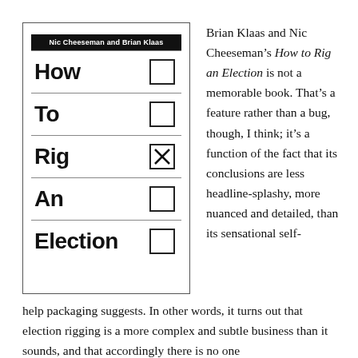[Figure (illustration): Book cover of 'How to Rig an Election' by Nic Cheeseman and Brian Klaas. Black author bar at top, followed by five rows each showing a word (How, To, Rig, An, Election) with a checkbox on the right. The 'Rig' row has its checkbox checked with an X.]
Brian Klaas and Nic Cheeseman's How to Rig an Election is not a memorable book. That's a feature rather than a bug, though, I think; it's a function of the fact that its conclusions are less headline-splashy, more nuanced and detailed, than its sensational self-help packaging suggests. In other words, it turns out that election rigging is a more complex and subtle business than it sounds, and that accordingly there is no one